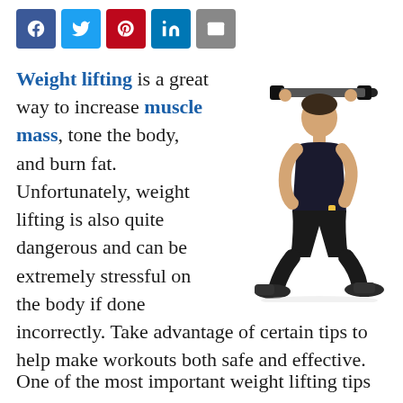[Figure (other): Social media share buttons: Facebook (blue), Twitter (light blue), Pinterest (red), LinkedIn (blue), Email (grey)]
Weight lifting is a great way to increase muscle mass, tone the body, and burn fat. Unfortunately, weight lifting is also quite dangerous and can be extremely stressful on the body if done incorrectly. Take advantage of certain tips to help make workouts both safe and effective.
[Figure (photo): A man performing a barbell squat exercise, wearing black athletic clothing, on a white background.]
One of the most important weight lifting tips